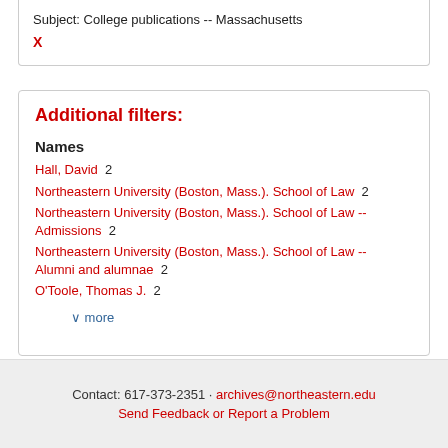Subject: College publications -- Massachusetts X
Additional filters:
Names
Hall, David  2
Northeastern University (Boston, Mass.). School of Law  2
Northeastern University (Boston, Mass.). School of Law -- Admissions  2
Northeastern University (Boston, Mass.). School of Law -- Alumni and alumnae  2
O'Toole, Thomas J.  2
∨ more
Contact: 617-373-2351 · archives@northeastern.edu
Send Feedback or Report a Problem